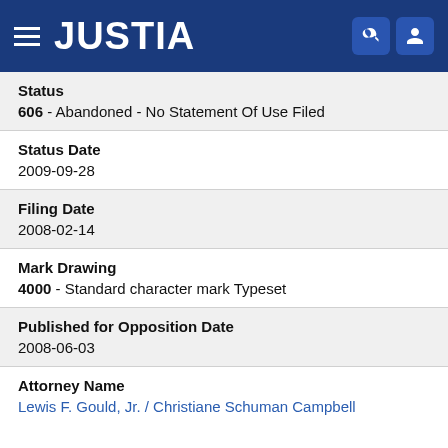JUSTIA
Status
606 - Abandoned - No Statement Of Use Filed
Status Date
2009-09-28
Filing Date
2008-02-14
Mark Drawing
4000 - Standard character mark Typeset
Published for Opposition Date
2008-06-03
Attorney Name
Lewis F. Gould, Jr. / Christiane Schuman Campbell